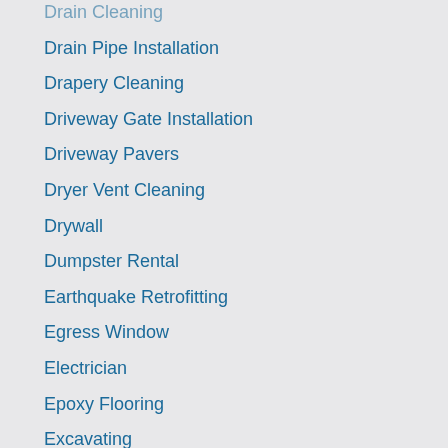Drain Cleaning
Drain Pipe Installation
Drapery Cleaning
Driveway Gate Installation
Driveway Pavers
Dryer Vent Cleaning
Drywall
Dumpster Rental
Earthquake Retrofitting
Egress Window
Electrician
Epoxy Flooring
Excavating
Fence Company
Fireplace Services